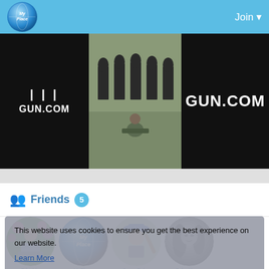MyPlace — Join
[Figure (photo): GUN.COM advertisement banner with black background showing GUN.COM text on left, shooting range photo in middle, and GUN.COM text on right]
Friends 5
[Figure (photo): Friend avatar - man in colorful garden, labeled EthioVic]
[Figure (photo): Friend avatar - MyPlace globe logo]
[Figure (photo): Friend avatar - cartoon boy character, labeled Cerro Relay]
[Figure (photo): Friend avatar - black and white woman photo, labeled Saba Yonas]
[Figure (photo): Friend avatar - Bety Belay]
This website uses cookies to ensure you get the best experience on our website.
Learn More
Got It!